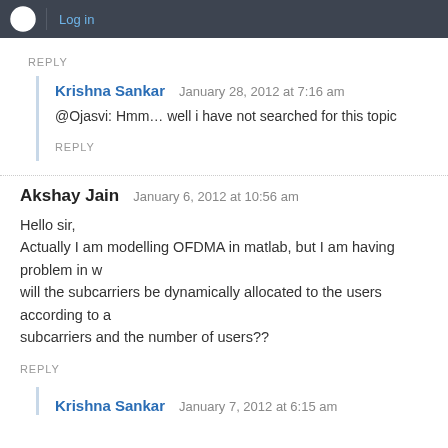WordPress | Log in
REPLY
Krishna Sankar  January 28, 2012 at 7:16 am
@Ojasvi: Hmm… well i have not searched for this topic
REPLY
Akshay Jain  January 6, 2012 at 10:56 am
Hello sir,
Actually I am modelling OFDMA in matlab, but I am having problem in w... will the subcarriers be dynamically allocated to the users according to a... subcarriers and the number of users??
REPLY
Krishna Sankar  January 7, 2012 at 6:15 am